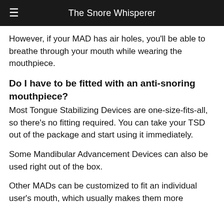The Snore Whisperer
However, if your MAD has air holes, you'll be able to breathe through your mouth while wearing the mouthpiece.
Do I have to be fitted with an anti-snoring mouthpiece?
Most Tongue Stabilizing Devices are one-size-fits-all, so there's no fitting required. You can take your TSD out of the package and start using it immediately.
Some Mandibular Advancement Devices can also be used right out of the box.
Other MADs can be customized to fit an individual user's mouth, which usually makes them more